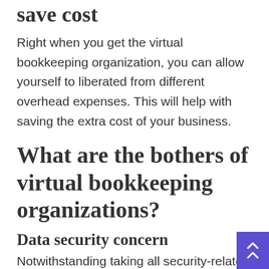save cost
Right when you get the virtual bookkeeping organization, you can allow yourself to liberated from different overhead expenses. This will help with saving the extra cost of your business.
What are the bothers of virtual bookkeeping organizations?
Data security concern
Notwithstanding taking all security-related measures, one of the perils that